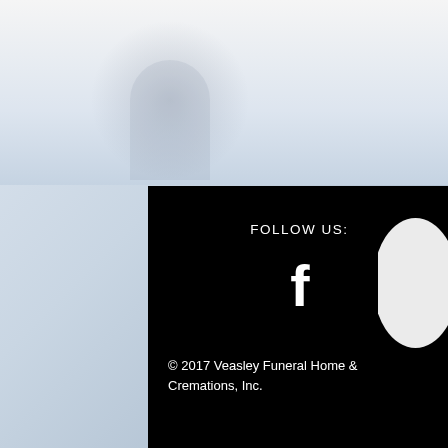[Figure (screenshot): Blurred background photo of sky and figures, with a black footer bar overlay showing social media follow section and copyright info, plus floating UI buttons (white circle, chevron up button, blue more options button)]
FOLLOW US:
[Figure (logo): Facebook 'f' logo icon in white]
© 2017 Veasley Funeral Home & Cremations, Inc.